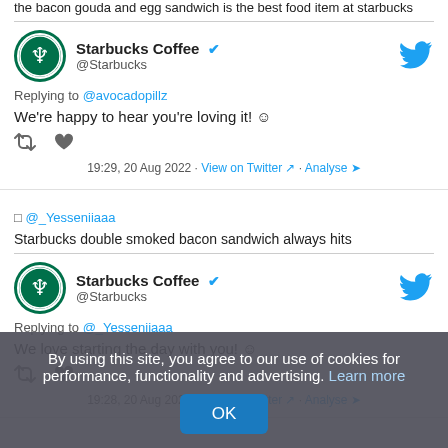the bacon gouda and egg sandwich is the best food item at starbucks
[Figure (screenshot): Starbucks Coffee Twitter reply to @avocadopillz: We're happy to hear you're loving it! Timestamp: 19:29, 20 Aug 2022]
□ @_Yesseniiaaa
Starbucks double smoked bacon sandwich always hits
[Figure (screenshot): Starbucks Coffee Twitter reply to @_Yesseniiaaa: We love starting the day with you! Timestamp: 19:28, 20 Aug 2022]
By using this site, you agree to our use of cookies for performance, functionality and advertising. Learn more OK